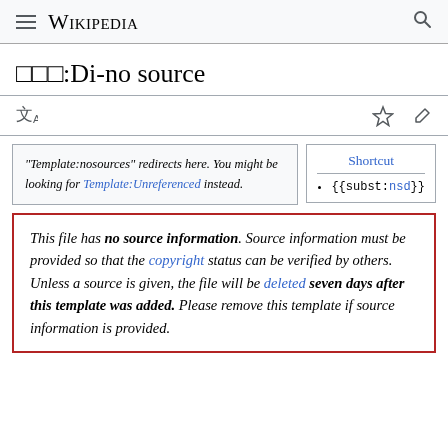Wikipedia
□□□:Di-no source
"Template:nosources" redirects here. You might be looking for Template:Unreferenced instead.
Shortcut • {{subst:nsd}}
This file has no source information. Source information must be provided so that the copyright status can be verified by others. Unless a source is given, the file will be deleted seven days after this template was added. Please remove this template if source information is provided.